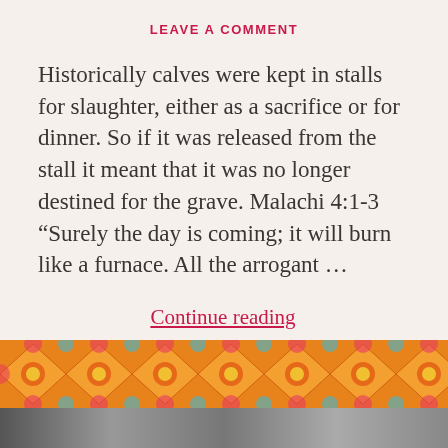LEAVE A COMMENT
Historically calves were kept in stalls for slaughter, either as a sacrifice or for dinner. So if it was released from the stall it meant that it was no longer destined for the grave. Malachi 4:1-3 “Surely the day is coming; it will burn like a furnace. All the arrogant …
Continue reading
[Figure (illustration): Decorative band with orange and red geometric/floral tile pattern at the bottom of the page]